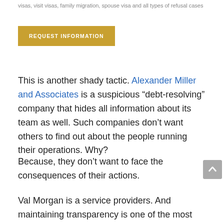visas, visit visas, family migration, spouse visa and all types of refusal cases
REQUEST INFORMATION
This is another shady tactic. Alexander Miller and Associates is a suspicious “debt-resolving” company that hides all information about its team as well. Such companies don’t want others to find out about the people running their operations. Why?
Because, they don’t want to face the consequences of their actions.
Val Morgan is a service providers. And maintaining transparency is one of the most important aspects for any